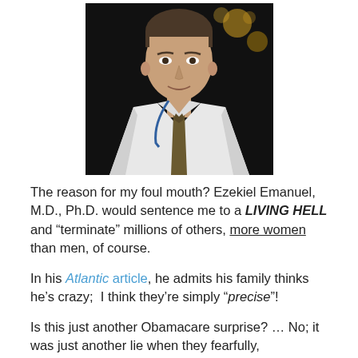[Figure (photo): Headshot of a man with short dark hair wearing a white collared shirt and olive/brown tie with a blue lanyard, smiling slightly, dark background with blurred golden bokeh lights]
The reason for my foul mouth? Ezekiel Emanuel, M.D., Ph.D. would sentence me to a LIVING HELL and “terminate” millions of others, more women than men, of course.
In his Atlantic article, he admits his family thinks he’s crazy;  I think they’re simply “precise”!
Is this just another Obamacare surprise? … No; it was just another lie when they fearfully, vehemently denied this, a